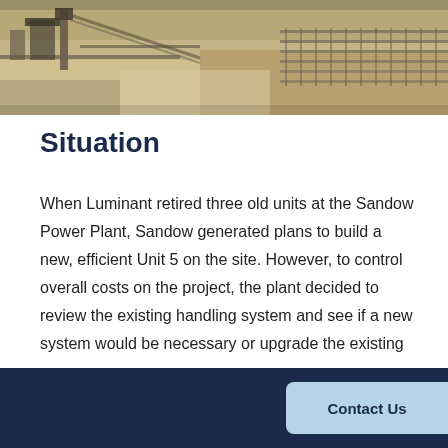[Figure (photo): Aerial photograph of the Sandow Power Plant industrial site showing coal handling facilities and equipment from above]
Situation
When Luminant retired three old units at the Sandow Power Plant, Sandow generated plans to build a new, efficient Unit 5 on the site. However, to control overall costs on the project, the plant decided to review the existing handling system and see if a new system would be necessary or upgrade the existing coal handling system that fed the decommissioned units to feed the
Contact Us